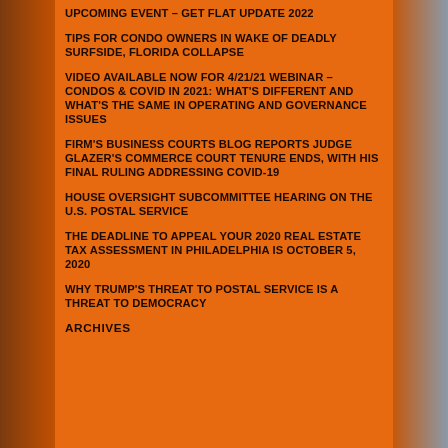UPCOMING EVENT – GET FLAT UPDATE 2022
TIPS FOR CONDO OWNERS IN WAKE OF DEADLY SURFSIDE, FLORIDA COLLAPSE
VIDEO AVAILABLE NOW FOR 4/21/21 WEBINAR – CONDOS & COVID IN 2021: WHAT'S DIFFERENT AND WHAT'S THE SAME IN OPERATING AND GOVERNANCE ISSUES
FIRM'S BUSINESS COURTS BLOG REPORTS JUDGE GLAZER'S COMMERCE COURT TENURE ENDS, WITH HIS FINAL RULING ADDRESSING COVID-19
HOUSE OVERSIGHT SUBCOMMITTEE HEARING ON THE U.S. POSTAL SERVICE
THE DEADLINE TO APPEAL YOUR 2020 REAL ESTATE TAX ASSESSMENT IN PHILADELPHIA IS OCTOBER 5, 2020
WHY TRUMP'S THREAT TO POSTAL SERVICE IS A THREAT TO DEMOCRACY
ARCHIVES